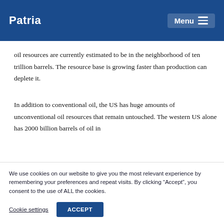Patria | Menu
oil resources are currently estimated to be in the neighborhood of ten trillion barrels. The resource base is growing faster than production can deplete it.
In addition to conventional oil, the US has huge amounts of unconventional oil resources that remain untouched. The western US alone has 2000 billion barrels of oil in the form of oil shale. An enormous section of R...
We use cookies on our website to give you the most relevant experience by remembering your preferences and repeat visits. By clicking “Accept”, you consent to the use of ALL the cookies.
Cookie settings
ACCEPT